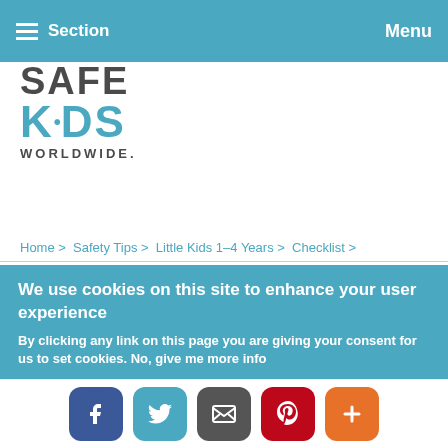Section   Menu
[Figure (logo): Safe Kids Worldwide logo with SAFE in dark gray, KIDS in teal with dot design, WORLDWIDE in small caps]
Home > Safety Tips > Little Kids 1–4 Years > Checklist >
[Figure (infographic): Social share buttons: Like 0 (Facebook), Facebook, Twitter, Pinterest, LinkedIn, Email, More (+)]
LITTLE KIDS
Toddlers have that perfect
We use cookies on this site to enhance your user experience

By clicking any link on this page you are giving your consent for us to set cookies. No, give me more info
[Figure (infographic): Bottom social sharing bar with Facebook, Twitter, Email, Pinterest, More (+) buttons]